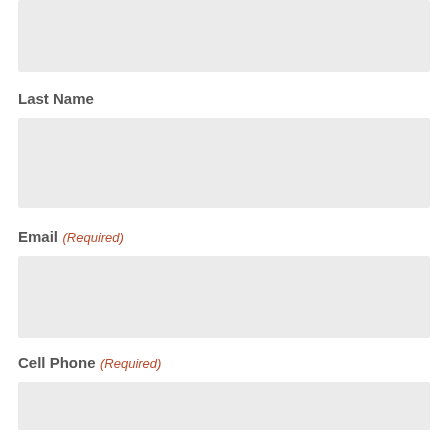[Figure (other): Empty form input field at top of page]
Last Name
[Figure (other): Empty form input field for Last Name]
Email (Required)
[Figure (other): Empty form input field for Email]
Cell Phone (Required)
[Figure (other): Empty form input field for Cell Phone]
Best Way to Contact You? (Required)
[Figure (other): Empty form input field for Best Way to Contact You]